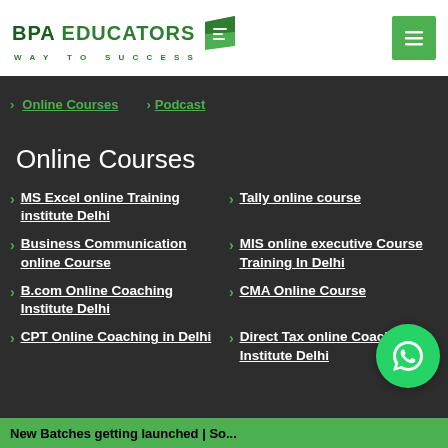[Figure (logo): BPA EDUCATORS logo with green book icon and tagline WAY TO SUCCESS]
Online Courses
Podcast
Online Courses
MS Excel online Training institute Delhi
Tally online course
Business Communication online Course
MIS online executive Course Training In Delhi
B.com Online Coaching Institute Delhi
CMA Online Course
CPT Online Coaching in Delhi
Direct Tax online Coaching Institute Delhi
New Batches getting launched | So...